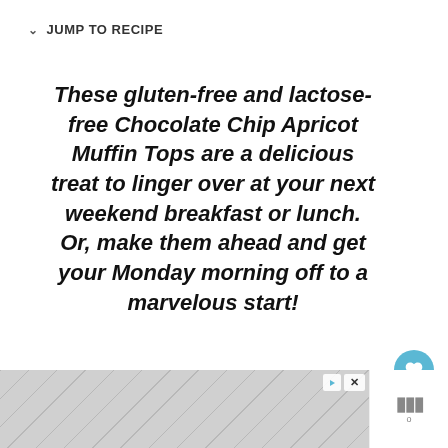↓ JUMP TO RECIPE
These gluten-free and lactose-free Chocolate Chip Apricot Muffin Tops are a delicious treat to linger over at your next weekend breakfast or lunch. Or, make them ahead and get your Monday morning off to a marvelous start!
Muffin tops are quickly becoming a weekend staple in our home after I made th...
[Figure (screenshot): WHAT'S NEXT → Easy Strawberry... next article preview with thumbnail image of a muffin]
[Figure (other): Advertisement banner with hexagonal grey pattern and close/play controls, plus side dots icon]